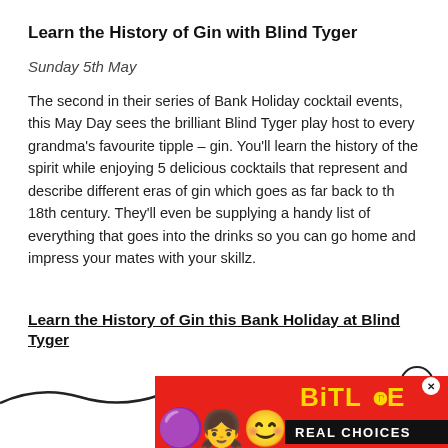Learn the History of Gin with Blind Tyger
Sunday 5th May
The second in their series of Bank Holiday cocktail events, this May Day sees the brilliant Blind Tyger play host to every grandma's favourite tipple – gin. You'll learn the history of the spirit while enjoying 5 delicious cocktails that represent and describe different eras of gin which goes as far back to th 18th century. They'll even be supplying a handy list of everything that goes into the drinks so you can go home and impress your mates with your skillz.
Learn the History of Gin this Bank Holiday at Blind Tyger
[Figure (screenshot): Advertisement banner for BitLife app with emoji characters and 'REAL CHOICES' text on red background]